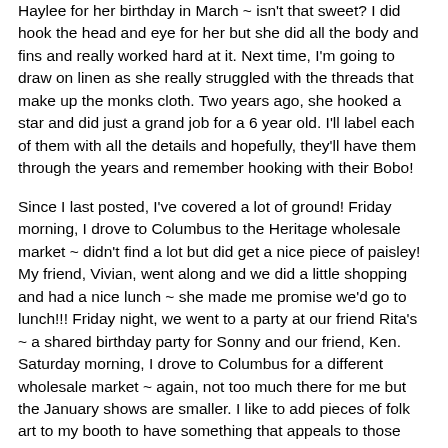Haylee for her birthday in March ~ isn't that sweet? I did hook the head and eye for her but she did all the body and fins and really worked hard at it. Next time, I'm going to draw on linen as she really struggled with the threads that make up the monks cloth. Two years ago, she hooked a star and did just a grand job for a 6 year old. I'll label each of them with all the details and hopefully, they'll have them through the years and remember hooking with their Bobo!
Since I last posted, I've covered a lot of ground! Friday morning, I drove to Columbus to the Heritage wholesale market ~ didn't find a lot but did get a nice piece of paisley! My friend, Vivian, went along and we did a little shopping and had a nice lunch ~ she made me promise we'd go to lunch!!! Friday night, we went to a party at our friend Rita's ~ a shared birthday party for Sonny and our friend, Ken. Saturday morning, I drove to Columbus for a different wholesale market ~ again, not too much there for me but the January shows are smaller. I like to add pieces of folk art to my booth to have something that appeals to those that aren't into rug hooking ~ I'm sure I'll find some things at the March shows!! I met Sonny for lunch on the way home ~ he was at